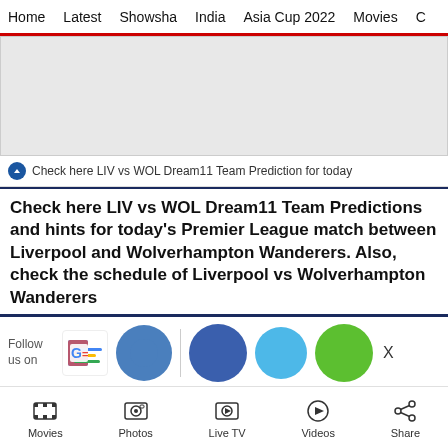Home | Latest | Showsha | India | Asia Cup 2022 | Movies | C
[Figure (other): Gray advertisement placeholder banner]
Check here LIV vs WOL Dream11 Team Prediction for today
Check here LIV vs WOL Dream11 Team Predictions and hints for today's Premier League match between Liverpool and Wolverhampton Wanderers. Also, check the schedule of Liverpool vs Wolverhampton Wanderers
[Figure (infographic): Follow us on social media bar with Google News icon, Facebook circle, divider, dark blue circle, light blue circle, and green circle with X close button]
Movies | Photos | Live TV | Videos | Share